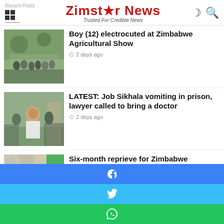Recent Posts | Zimstar News — Trusted For Credible News
Boy (12) electrocuted at Zimbabwe Agricultural Show — 2 days ago
LATEST: Job Sikhala vomiting in prison, lawyer called to bring a doctor — 2 days ago
Six-month reprieve for Zimbabwe exemption permit holders in South Africa — 3 days ago